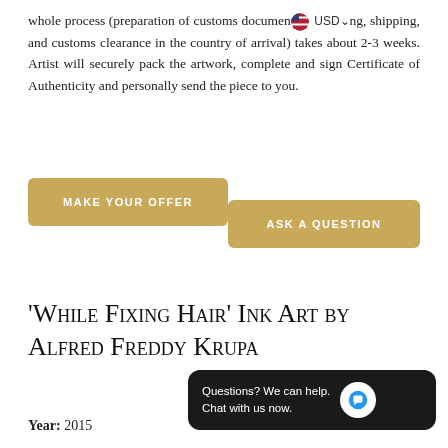whole process (preparation of customs documents [USD] ng, shipping, and customs clearance in the country of arrival) takes about 2-3 weeks. Artist will securely pack the artwork, complete and sign Certificate of Authenticity and personally send the piece to you.
[Figure (other): MAKE YOUR OFFER button (gold/tan background, white uppercase text)]
[Figure (other): ASK A QUESTION button (gold/tan background, white uppercase text)]
'While Fixing Hair' Ink Art by Alfred Freddy Krupa
[Figure (other): Chat widget: 'Questions? We can help. Chat with us now.' on dark background with chat bubble icon]
Year: 2015